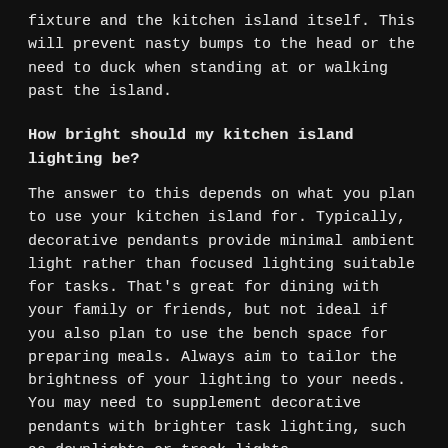fixture and the kitchen island itself. This will prevent nasty bumps to the head or the need to duck when standing at or walking past the island.
How bright should my kitchen island lighting be?
The answer to this depends on what you plan to use your kitchen island for. Typically, decorative pendants provide minimal ambient light rather than focused lighting suitable for tasks. That’s great for dining with your family or friends, but not ideal if you also plan to use the bench space for preparing meals. Always aim to tailor the brightness of your lighting to your needs. You may need to supplement decorative pendants with brighter task lighting, such as downlights or track lights.
When it comes to illuminating a kitchen bench space, it’s good to consider the Colour Rendering Index (CRI) of the globes. The CRI is a measure of how well a light source (e.g. your kitchen island pendant) reveals the true colours of an object. A lower CRI can make food appear muddy